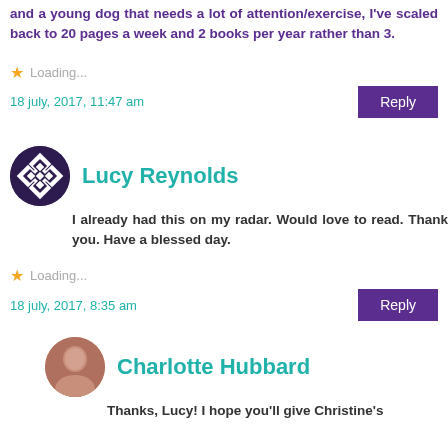and a young dog that needs a lot of attention/exercise, I've scaled back to 20 pages a week and 2 books per year rather than 3.
Loading...
18 july, 2017, 11:47 am
Reply
Lucy Reynolds
I already had this on my radar. Would love to read. Thank you. Have a blessed day.
Loading...
18 july, 2017, 8:35 am
Reply
Charlotte Hubbard
Thanks, Lucy! I hope you'll give Christine's